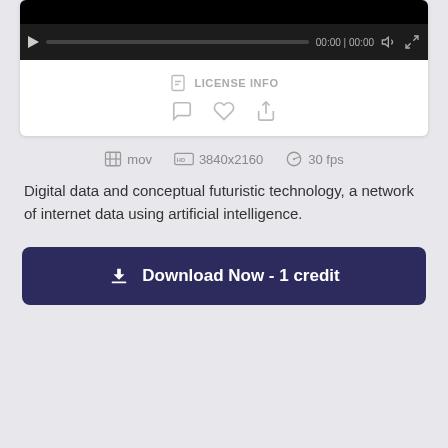[Figure (screenshot): Video player with black background, play button, progress bar, time display 00:00 | 00:00, volume and fullscreen icons, followed by LICENSE INFO link, comment/like/share icons, file metadata (mov, 3840x2160, 30 fps), description text, and download button.]
LICENSE INFO
mov   3840x2160   30 fps
Digital data and conceptual futuristic technology, a network of internet data using artificial intelligence.
Download Now - 1 credit